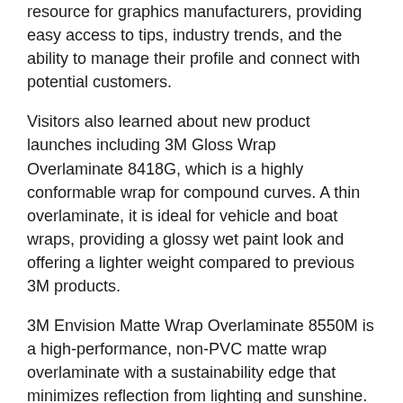resource for graphics manufacturers, providing easy access to tips, industry trends, and the ability to manage their profile and connect with potential customers.
Visitors also learned about new product launches including 3M Gloss Wrap Overlaminate 8418G, which is a highly conformable wrap for compound curves. A thin overlaminate, it is ideal for vehicle and boat wraps, providing a glossy wet paint look and offering a lighter weight compared to previous 3M products.
3M Envision Matte Wrap Overlaminate 8550M is a high-performance, non-PVC matte wrap overlaminate with a sustainability edge that minimizes reflection from lighting and sunshine. It is ideal for textured surfaces, smooth walls, and vehicle wraps.
In the Trenches
Hands-on product demonstrations took place in the 3M